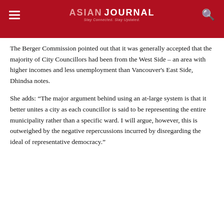ASIAN JOURNAL — Stay Connected. Stay Updated.
The Berger Commission pointed out that it was generally accepted that the majority of City Councillors had been from the West Side – an area with higher incomes and less unemployment than Vancouver's East Side, Dhindsa notes.
She adds: “The major argument behind using an at-large system is that it better unites a city as each councillor is said to be representing the entire municipality rather than a specific ward. I will argue, however, this is outweighed by the negative repercussions incurred by disregarding the ideal of representative democracy.”